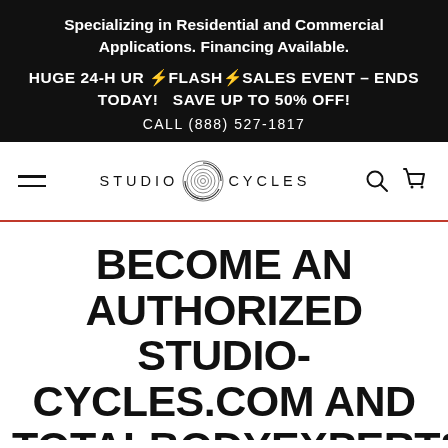Specializing in Residential and Commercial Applications. Financing Available.
HUGE 24-HOUR ⚡FLASH⚡SALES EVENT - ENDS TODAY!   SAVE UP TO 50% OFF!
CALL (888) 527-1817
[Figure (logo): Studio Cycles logo with spiral S icon between the words STUDIO and CYCLES]
BECOME AN AUTHORIZED STUDIO-CYCLES.COM AND TOTALBODYEXPERTS.COM DISTRIBUTOR